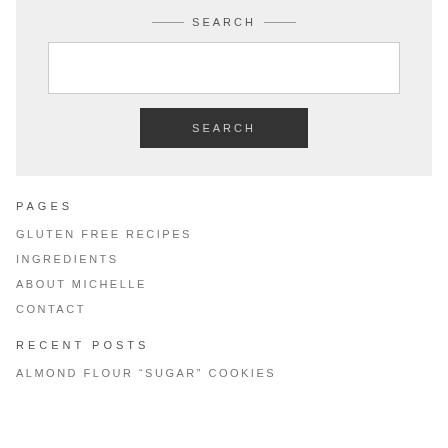SEARCH
[Figure (other): Search input text field (white rectangle)]
[Figure (other): Search button (dark rectangle with SEARCH text)]
PAGES
GLUTEN FREE RECIPES
INGREDIENTS
ABOUT MICHELLE
CONTACT
RECENT POSTS
ALMOND FLOUR “SUGAR” COOKIES